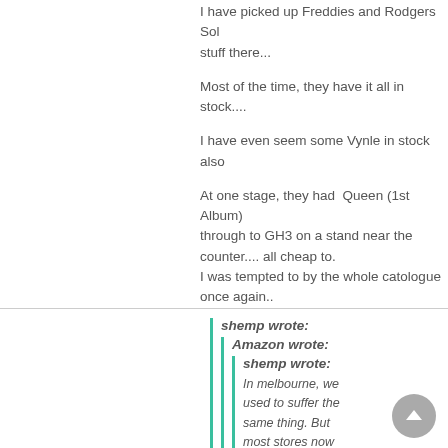I have picked up Freddies and Rodgers Solo stuff there...
Most of the time, they have it all in stock...
I have even seem some Vynle in stock also
At one stage, they had  Queen (1st Album) through to GH3 on a stand near the counter.... all cheap to.
I was tempted to by the whole catologue once again..
shemp wrote:
Amazon wrote:
shemp wrote:
In melbourne, we used to suffer the same thing. But most stores now sell most of